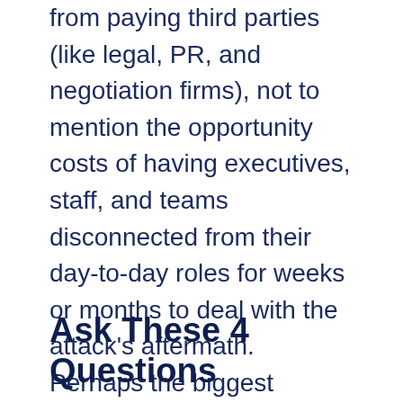from paying third parties (like legal, PR, and negotiation firms), not to mention the opportunity costs of having executives, staff, and teams disconnected from their day-to-day roles for weeks or months to deal with the attack's aftermath. Perhaps the biggest unaccounted-for expense is the resulting lost revenue.
Ask These 4 Questions